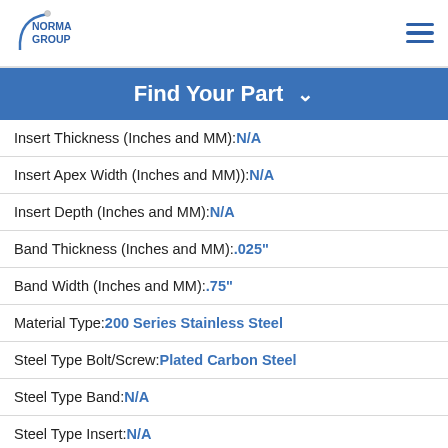NORMA GROUP
Find Your Part
Insert Thickness (Inches and MM): N/A
Insert Apex Width (Inches and MM)): N/A
Insert Depth (Inches and MM): N/A
Band Thickness (Inches and MM): .025"
Band Width (Inches and MM): .75"
Material Type: 200 Series Stainless Steel
Steel Type Bolt/Screw: Plated Carbon Steel
Steel Type Band: N/A
Steel Type Insert: N/A
SAE: N/A